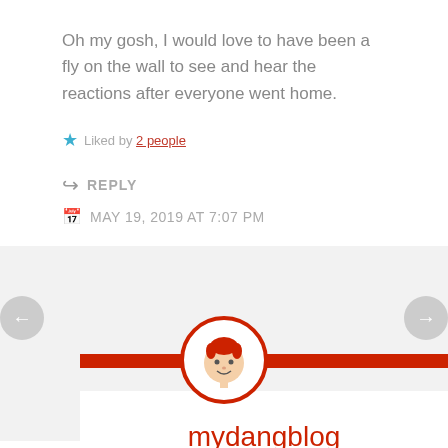Oh my gosh, I would love to have been a fly on the wall to see and hear the reactions after everyone went home.
Liked by 2 people
REPLY
MAY 19, 2019 AT 7:07 PM
[Figure (illustration): Blog avatar: circular red-bordered avatar with cartoon face with red hair, centered on a red horizontal bar dividing a gray background from a white card section. Left and right navigation arrows visible.]
mydangblog
Me too!
Like